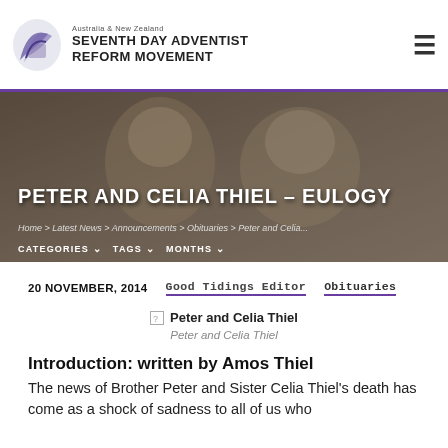Australia & New Zealand Seventh Day Adventist Reform Movement
[Figure (photo): Hero image of Peter and Celia Thiel (elderly couple), with overlaid title text, breadcrumb navigation, and category navigation bar.]
PETER AND CELIA THIEL – EULOGY
Home > Latest News > Announcements > Obituaries > Peter and Celia...
CATEGORIES  TAGS  MONTHS
20 NOVEMBER, 2014   Good Tidings Editor   Obituaries
[Figure (photo): Broken image placeholder labeled 'Peter and Celia Thiel']
Peter and Celia Thiel
Introduction: written by Amos Thiel
The news of Brother Peter and Sister Celia Thiel's death has come as a shock of sadness to all of us who